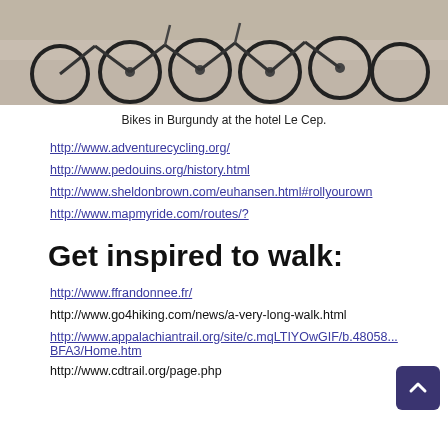[Figure (photo): Photograph of bicycles parked on a gravel surface in Burgundy at hotel Le Cep]
Bikes in Burgundy at the hotel Le Cep.
http://www.adventurecycling.org/
http://www.pedouins.org/history.html
http://www.sheldonbrown.com/euhansen.html#rollyourown
http://www.mapmyride.com/routes/?
Get inspired to walk:
http://www.ffrandonnee.fr/
http://www.go4hiking.com/news/a-very-long-walk.html
http://www.appalachiantrail.org/site/c.mqLTIYOwGIF/b.48058... BFA3/Home.htm
http://www.cdtrail.org/page.php